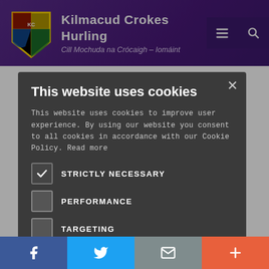Kilmacud Crokes Hurling — Cill Mochuda na Crócaigh – Iomáint
[Figure (screenshot): Cookie consent modal dialog overlaying a sports club website. Modal has title 'This website uses cookies', body text, checkboxes for STRICTLY NECESSARY (checked), PERFORMANCE, TARGETING, FUNCTIONALITY, UNCLASSIFIED, and buttons ACCEPT ALL and DECLINE ALL.]
Social sharing bar with Facebook, Twitter, Email, and Plus buttons